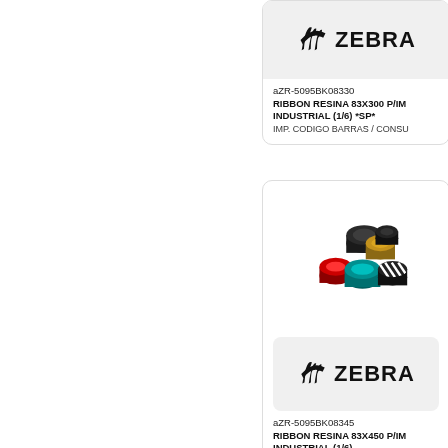[Figure (logo): Zebra Technologies logo in grey rounded rectangle box, top card]
aZR-5095BK08330
RIBBON RESINA 83X300 P/IM INDUSTRIAL (1/6) *SP*
IMP. CODIGO BARRAS / CONSU
[Figure (photo): Collection of thermal transfer ribbon rolls in various colors (black, red, teal/blue, gold/yellow) shown as a product photo]
[Figure (logo): Zebra Technologies logo in grey rounded rectangle box, bottom card]
aZR-5095BK08345
RIBBON RESINA 83X450 P/IM INDUSTRIAL (1/6)
IMP. CODIGO BARRAS / CONSU